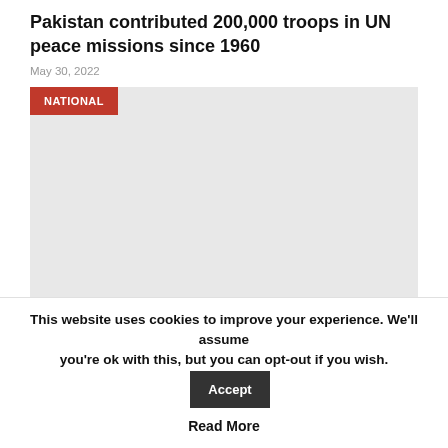Pakistan contributed 200,000 troops in UN peace missions since 1960
May 30, 2022
[Figure (photo): Gray placeholder image with a red NATIONAL category badge in the top-left corner]
RAWALPINDI - On the occasion of World UN Peacekeepers Day, it is worth reiterating that Pakistan stands tall in the…
This website uses cookies to improve your experience. We'll assume you're ok with this, but you can opt-out if you wish.
Accept
Read More